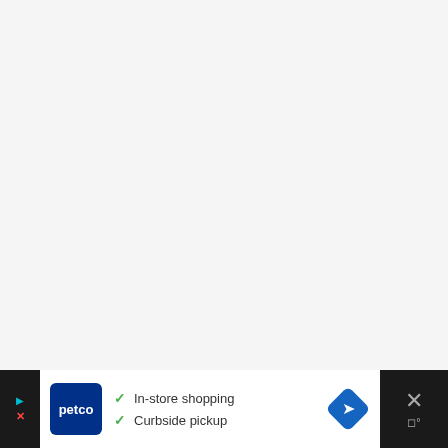[Figure (other): Large blank/white-gray area representing a mostly empty webpage content area]
[Figure (other): Petco advertisement banner at bottom. Contains Petco logo (dark blue square with white 'petco' text), two checkmark items: 'In-store shopping' and 'Curbside pickup', and a blue navigation diamond icon on the right. Banner has dark side strips with play/close controls.]